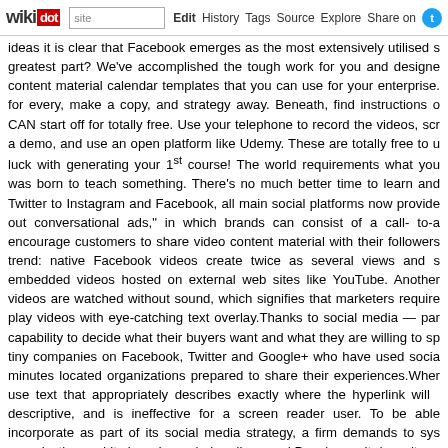wikidot | site | Edit | History | Tags | Source | Explore | Share on Twitter
ideas it is clear that Facebook emerges as the most extensively utilised s... greatest part? We've accomplished the tough work for you and designe... content material calendar templates that you can use for your enterprise. for every, make a copy, and strategy away. Beneath, find instructions o... CAN start off for totally free. Use your telephone to record the videos, scr... a demo, and use an open platform like Udemy. These are totally free to u... luck with generating your 1st course! The world requirements what you... was born to teach something. There's no much better time to learn and... Twitter to Instagram and Facebook, all main social platforms now provide... out conversational ads," in which brands can consist of a call- to-a... encourage customers to share video content material with their followers... trend: native Facebook videos create twice as several views and s... embedded videos hosted on external web sites like YouTube. Another... videos are watched without sound, which signifies that marketers require... play videos with eye-catching text overlay.Thanks to social media — par... capability to decide what their buyers want and what they are willing to sp... tiny companies on Facebook, Twitter and Google+ who have used socia... minutes located organizations prepared to share their experiences.Whe... use text that appropriately describes exactly where the hyperlink will ... descriptive, and is ineffective for a screen reader user. To be able... incorporate as part of its social media strategy, a firm demands to sys... organization and its brands are being discussed.People say it doesn't ma... habit (and blogging is a habit), you want to set a schedule and stick to i... and brands of all sizes to have a social media presence - but one particu... how to handle various social channels successfully. - Comments: 0
RSS feed